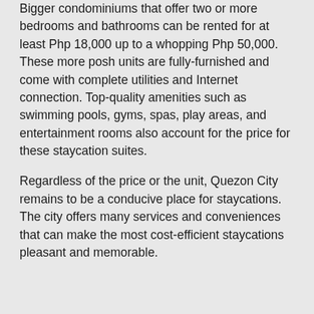Bigger condominiums that offer two or more bedrooms and bathrooms can be rented for at least Php 18,000 up to a whopping Php 50,000. These more posh units are fully-furnished and come with complete utilities and Internet connection. Top-quality amenities such as swimming pools, gyms, spas, play areas, and entertainment rooms also account for the price for these staycation suites.
Regardless of the price or the unit, Quezon City remains to be a conducive place for staycations. The city offers many services and conveniences that can make the most cost-efficient staycations pleasant and memorable.
Find Other Staycations in the Philippines